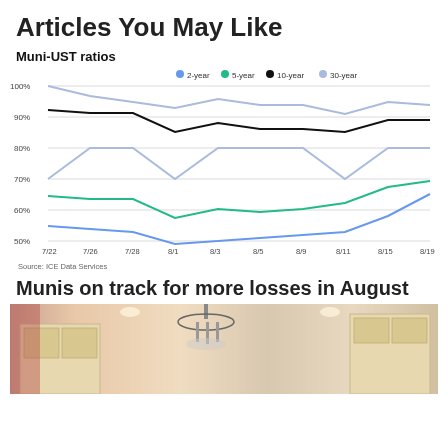Articles You May Like
[Figure (line-chart): Muni-UST ratios]
Source: ICE Data Services
Munis on track for more losses in August
[Figure (photo): Interior room with chandelier and cabinetry]